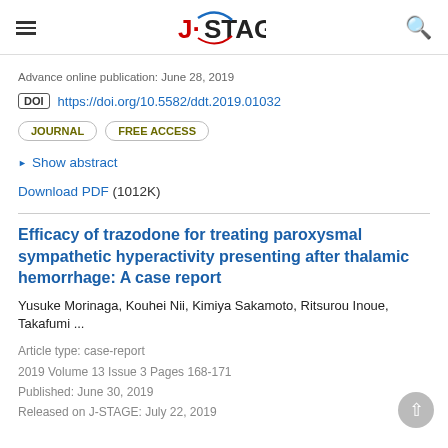J-STAGE
Advance online publication: June 28, 2019
DOI https://doi.org/10.5582/ddt.2019.01032
JOURNAL  FREE ACCESS
▶ Show abstract
Download PDF (1012K)
Efficacy of trazodone for treating paroxysmal sympathetic hyperactivity presenting after thalamic hemorrhage: A case report
Yusuke Morinaga, Kouhei Nii, Kimiya Sakamoto, Ritsurou Inoue, Takafumi ...
Article type: case-report
2019 Volume 13 Issue 3 Pages 168-171
Published: June 30, 2019
Released on J-STAGE: July 22, 2019